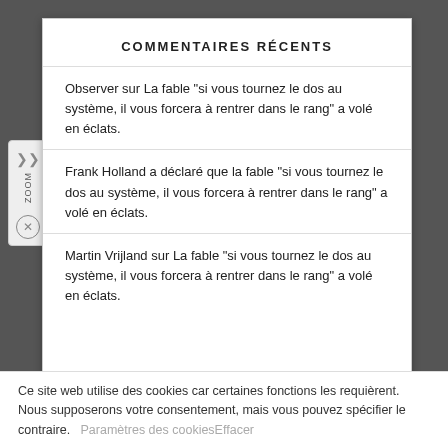COMMENTAIRES RÉCENTS
Observer sur La fable "si vous tournez le dos au système, il vous forcera à rentrer dans le rang" a volé en éclats.
Frank Holland a déclaré que la fable "si vous tournez le dos au système, il vous forcera à rentrer dans le rang" a volé en éclats.
Martin Vrijland sur La fable "si vous tournez le dos au système, il vous forcera à rentrer dans le rang" a volé en éclats.
Ce site web utilise des cookies car certaines fonctions les requièrent. Nous supposerons votre consentement, mais vous pouvez spécifier le contraire. Paramètres des cookiesEffacer